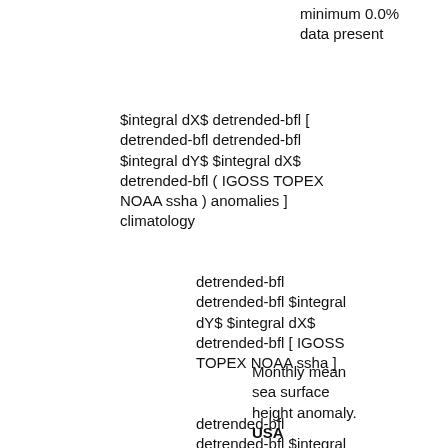minimum 0.0% data present
$integral dX$ detrended-bfl [ detrended-bfl detrended-bfl $integral dY$ $integral dX$ detrended-bfl ( IGOSS TOPEX NOAA ssha ) anomalies ] climatology
detrended-bfl detrended-bfl $integral dY$ $integral dX$ detrended-bfl [ IGOSS TOPEX NOAA ssha ]
Monthly mean sea surface height anomaly. USA
detrended-bfl detrended-bfl $integral dY$ $integral dX$